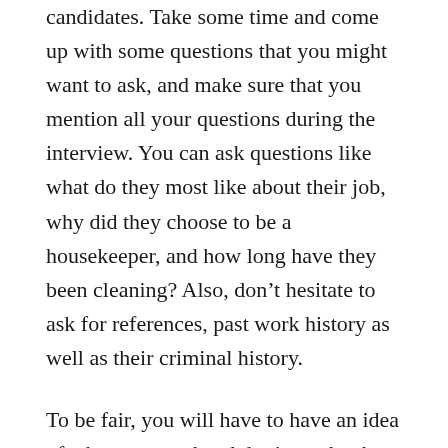candidates. Take some time and come up with some questions that you might want to ask, and make sure that you mention all your questions during the interview. You can ask questions like what do they most like about their job, why did they choose to be a housekeeper, and how long have they been cleaning? Also, don't hesitate to ask for references, past work history as well as their criminal history.
To be fair, you will have to have an idea of what you need and don't need to be cleaned. Make a list and some instructions for your housekeeper before you schedule your first cleaning appointment. Letting your housekeeper know about your needs can help them provide you with the best possible results. You might also want to ask your housekeeper if they would be